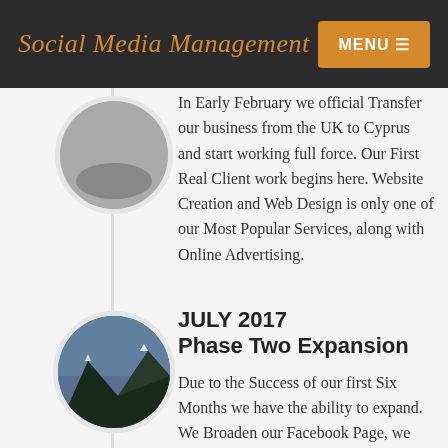Social Media Management
In Early February we official Transfer our business from the UK to Cyprus and start working full force. Our First Real Client work begins here. Website Creation and Web Design is only one of our Most Popular Services, along with Online Advertising.
JULY 2017 Phase Two Expansion
Due to the Success of our first Six Months we have the ability to expand. We Broaden our Facebook Page, we Redesign our Website and we utilize new Equipment to take down even bigger